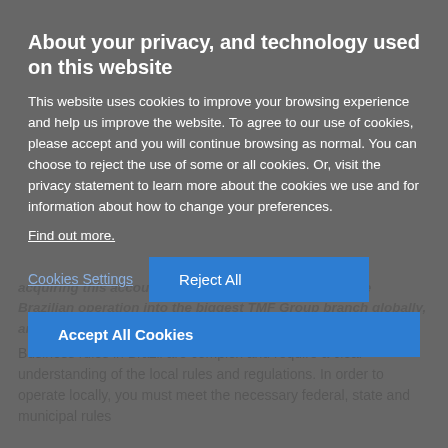About your privacy, and technology used on this website
This website uses cookies to improve your browsing experience and help us improve the website. To agree to our use of cookies, please accept and you will continue browsing as normal. You can choose to reject the use of some or all cookies. Or, visit the privacy statement to learn more about the cookies we use and for information about how to change your preferences.
Find out more.
Cookies Settings
Reject All
Accept All Cookies
...acquiring the accounting company in Brazil turned the Brazilian operation into the biggest TMF Group branch globally, and made us the largest such provider in Brazil.
Business rules in Brazil are complex and require a clear understanding of the local rules and regulations. In order to operate locally, you must meet the necessary federal, state and municipal rules...